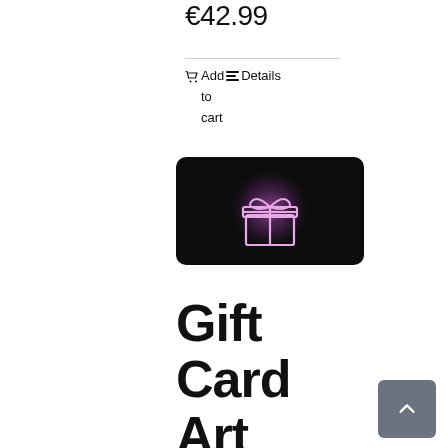€42.99
Add to cart  Details
[Figure (illustration): Black gift card with a glowing pink/purple neon gift box icon in the center, with a reflection below]
Gift Card Art Academy Ireland